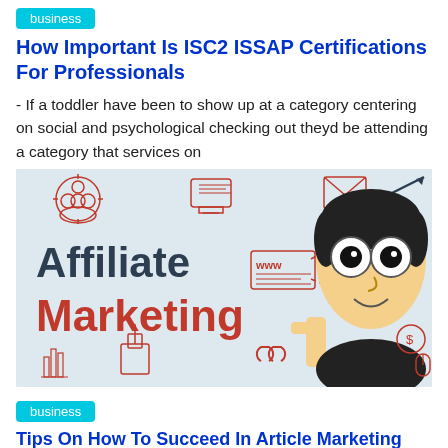business
How Important Is ISC2 ISSAP Certifications For Professionals
- If a toddler have been to show up at a category centering on social and psychological checking out theyd be attending a category that services on
[Figure (illustration): Affiliate Marketing banner illustration with cartoon character pointing, surrounded by marketing icons (people, monitor, email, www, link, key, dollar sign, mouse). Text reads 'Affiliate Marketing' in dark and red colors on light blue background.]
business
Tips On How To Succeed In Article Marketing
- harder to make a deal and convince someone you